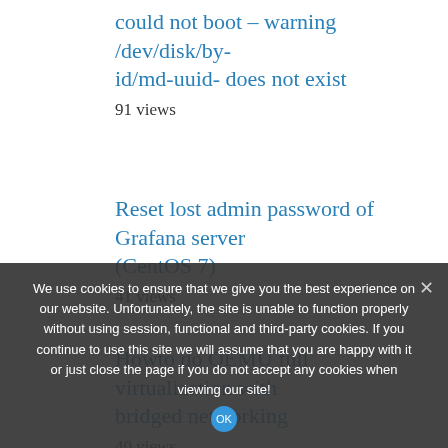could not boot – warning /dev/disk/by-id/md-uuid- does not exist
91 views
Reset lost admin password of Grafana server (CentOS 7)
41 views
Howto do QEMU full virtualization with bridged networking
40 views
Online resize of a root ext2 file system –
38 views
Mount and boot ISO file from windows share in Supermicro IPMI Virtual media (CD-ROM)
31 views
We use cookies to ensure that we give you the best experience on our website. Unfortunately, the site is unable to function properly without using session, functional and third-party cookies. If you continue to use this site we will assume that you are happy with it or just close the page if you do not accept any cookies when viewing our site!